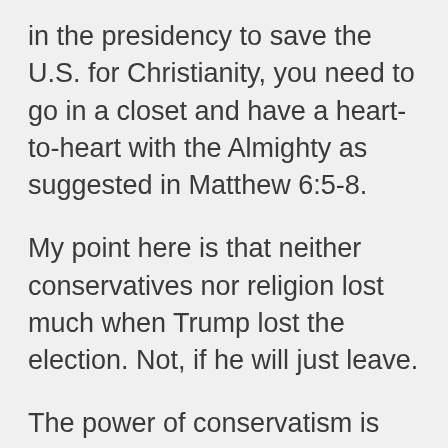in the presidency to save the U.S. for Christianity, you need to go in a closet and have a heart-to-heart with the Almighty as suggested in Matthew 6:5-8.
My point here is that neither conservatives nor religion lost much when Trump lost the election. Not, if he will just leave.
The power of conservatism is not in its national or world view; it is in the power of personally caring for all of God’s people in churches, synagogues, and